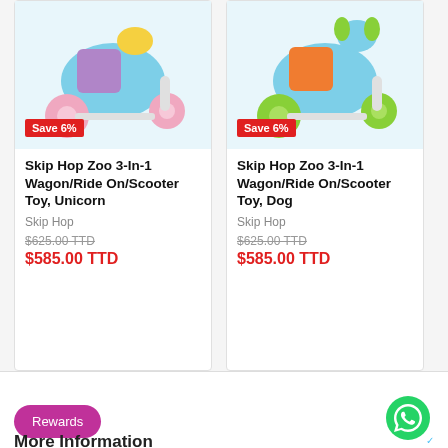[Figure (photo): Skip Hop Zoo 3-In-1 Wagon/Ride On/Scooter Toy, Unicorn - colorful toy with pink wheels and purple/teal body]
Save 6%
Skip Hop Zoo 3-In-1 Wagon/Ride On/Scooter Toy, Unicorn
Skip Hop
$625.00 TTD
$585.00 TTD
[Figure (photo): Skip Hop Zoo 3-In-1 Wagon/Ride On/Scooter Toy, Dog - colorful toy with green wheels and orange/teal body]
Save 6%
Skip Hop Zoo 3-In-1 Wagon/Ride On/Scooter Toy, Dog
Skip Hop
$625.00 TTD
$585.00 TTD
Rewards
More Information